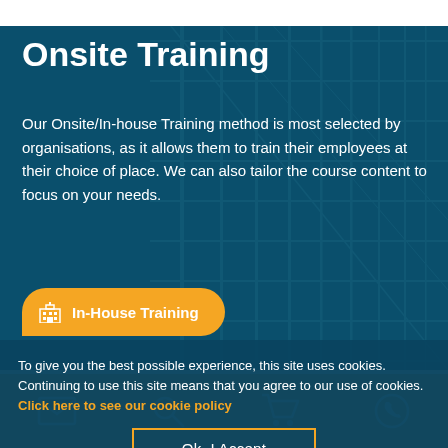Onsite Training
Our Onsite/In-house Training method is most selected by organisations, as it allows them to train their employees at their choice of place. We can also tailor the course content to focus on your needs.
In-House Training
To give you the best possible experience, this site uses cookies. Continuing to use this site means that you agree to our use of cookies. Click here to see our cookie policy
Ok, I Accept